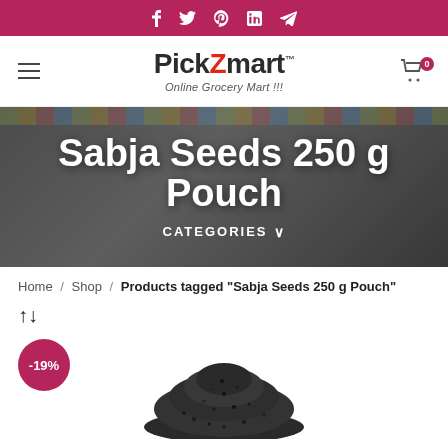Social bar with Facebook, Twitter, Pinterest, LinkedIn, Telegram icons
[Figure (logo): PickZmart logo with tagline 'Online Grocery Mart !!!']
Sabja Seeds 250 g Pouch
CATEGORIES ∨
Home / Shop / Products tagged "Sabja Seeds 250 g Pouch"
↑↓
[Figure (photo): Sabja seeds pile photo with -19% discount badge]